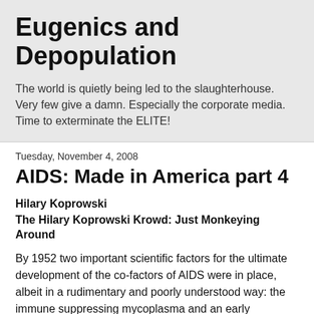Eugenics and Depopulation
The world is quietly being led to the slaughterhouse. Very few give a damn. Especially the corporate media. Time to exterminate the ELITE!
Tuesday, November 4, 2008
AIDS: Made in America part 4
Hilary Koprowski
The Hilary Koprowski Krowd: Just Monkeying Around
By 1952 two important scientific factors for the ultimate development of the co-factors of AIDS were in place, albeit in a rudimentary and poorly understood way: the immune suppressing mycoplasma and an early understanding of the retrovirus. It was enough to require some sort of testing to